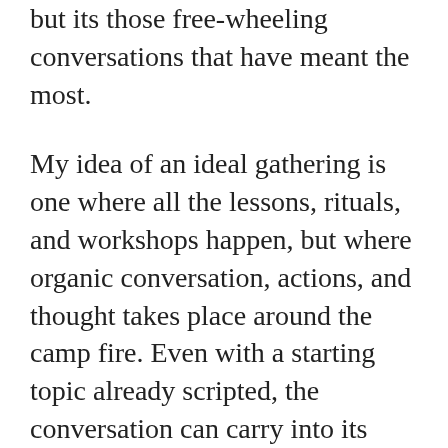but its those free-wheeling conversations that have meant the most.
My idea of an ideal gathering is one where all the lessons, rituals, and workshops happen, but where organic conversation, actions, and thought takes place around the camp fire. Even with a starting topic already scripted, the conversation can carry into its own organic branching from there – and carries on for as long as the participants want it to.